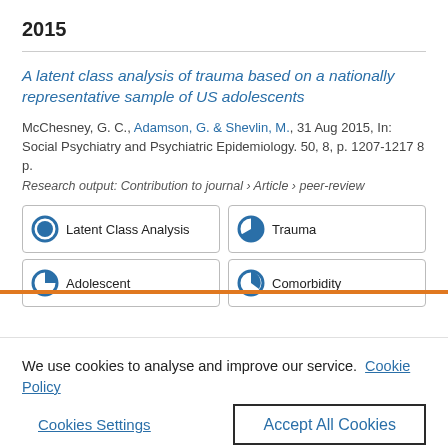2015
A latent class analysis of trauma based on a nationally representative sample of US adolescents
McChesney, G. C., Adamson, G. & Shevlin, M., 31 Aug 2015, In: Social Psychiatry and Psychiatric Epidemiology. 50, 8, p. 1207-1217 8 p.
Research output: Contribution to journal › Article › peer-review
Latent Class Analysis
Trauma
Adolescent
Comorbidity
We use cookies to analyse and improve our service.  Cookie Policy
Cookies Settings
Accept All Cookies